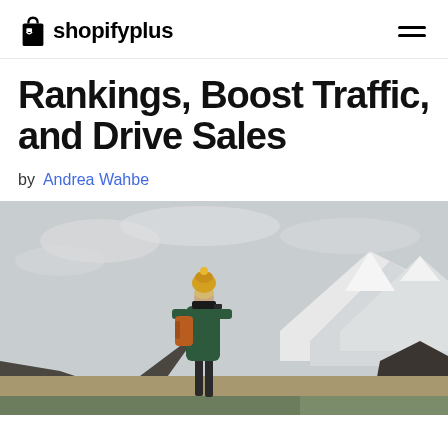Shopify Plus
Rankings, Boost Traffic, and Drive Sales
by Andrea Wahbe
[Figure (photo): Person wearing a yellow knit hat and dark green jacket, carrying an orange backpack, looking through binoculars at a mountainous snowy landscape under an overcast sky.]